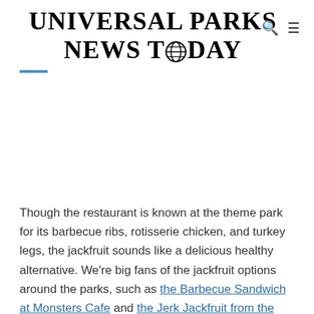Universal Parks News Today
Though the restaurant is known at the theme park for its barbecue ribs, rotisserie chicken, and turkey legs, the jackfruit sounds like a delicious healthy alternative. We're big fans of the jackfruit options around the parks, such as the Barbecue Sandwich at Monsters Cafe and the Jerk Jackfruit from the Bahamas Tasting Booth during Mardi Gras, so let's dig in!